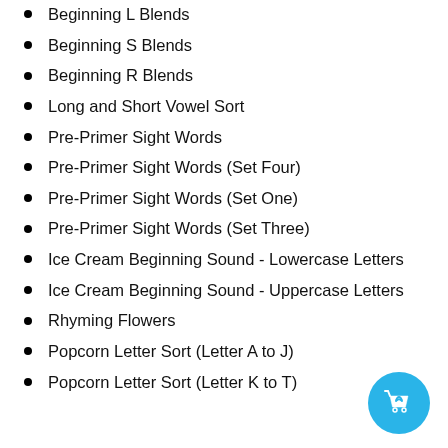Beginning L Blends
Beginning S Blends
Beginning R Blends
Long and Short Vowel Sort
Pre-Primer Sight Words
Pre-Primer Sight Words (Set Four)
Pre-Primer Sight Words (Set One)
Pre-Primer Sight Words (Set Three)
Ice Cream Beginning Sound - Lowercase Letters
Ice Cream Beginning Sound - Uppercase Letters
Rhyming Flowers
Popcorn Letter Sort (Letter A to J)
Popcorn Letter Sort (Letter K to T)